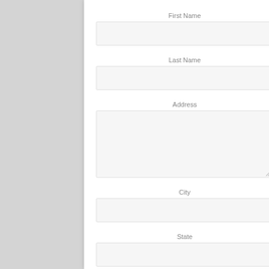First Name
[Figure (other): Empty text input field for First Name]
Last Name
[Figure (other): Empty text input field for Last Name]
Address
[Figure (other): Empty textarea for Address with resize handle]
City
[Figure (other): Empty text input field for City]
State
[Figure (other): Empty text input field for State]
Zip